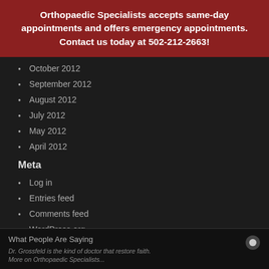Orthopaedic Specialists accepts same-day appointments and offers emergency appointments. Contact us today at 502-212-2663!
October 2012
September 2012
August 2012
July 2012
May 2012
April 2012
Meta
Log in
Entries feed
Comments feed
WordPress.org
What People Are Saying
Dr. Grossfeld is the kind of doctor that restore faith. More on Orthopaedic Specialists...